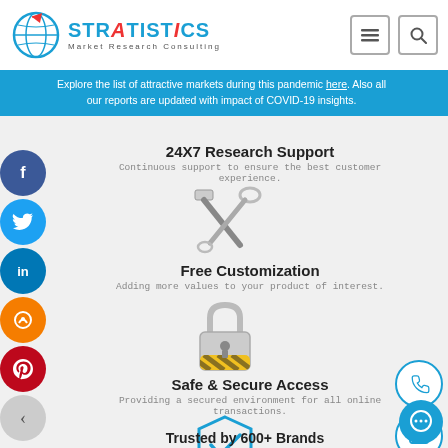Stratistics Market Research Consulting
Explore the list of attractive markets during this pandemic here. Also all our reports are updated with impact of COVID-19 insights.
24X7 Research Support
Continuous support to ensure the best customer experience.
[Figure (illustration): Crossed hammer and wrench tools icon in grey tones]
Free Customization
Adding more values to your product of interest.
[Figure (illustration): Padlock icon with yellow hazard stripe on the bottom, grey metallic style]
Safe & Secure Access
Providing a secured environment for all online transactions.
[Figure (illustration): Shield icon with a checkmark inside, outlined in teal/blue]
Trusted by 600+ Brands
Serving the most reputed brands across the world.